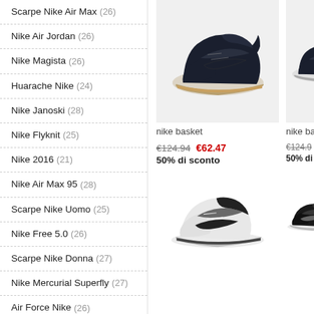Scarpe Nike Air Max (26)
Nike Air Jordan (26)
Nike Magista (26)
Huarache Nike (24)
Nike Janoski (28)
Nike Flyknit (25)
Nike 2016 (21)
Nike Air Max 95 (28)
Scarpe Nike Uomo (25)
Nike Free 5.0 (26)
Scarpe Nike Donna (27)
Nike Mercurial Superfly (27)
Air Force Nike (26)
Air Force One Nike (21)
Air Max Nike (25)
[Figure (photo): Nike basketball shoe in dark navy/black colorway with gum sole, high-top style]
nike basket
€124.94  €62.47
50% di sconto
[Figure (photo): Nike basketball shoes, white and black colorway, low-top style, partial view]
nike bas
€124.9...
50% di...